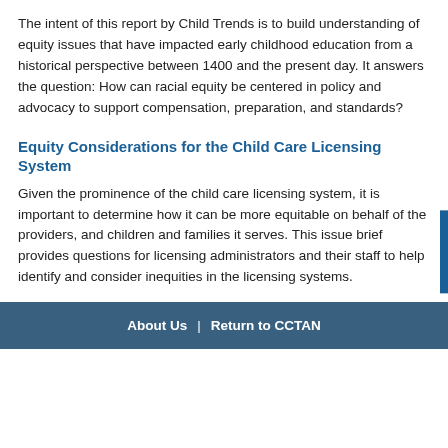The intent of this report by Child Trends is to build understanding of equity issues that have impacted early childhood education from a historical perspective between 1400 and the present day. It answers the question: How can racial equity be centered in policy and advocacy to support compensation, preparation, and standards?
Equity Considerations for the Child Care Licensing System
Given the prominence of the child care licensing system, it is important to determine how it can be more equitable on behalf of the providers, and children and families it serves. This issue brief provides questions for licensing administrators and their staff to help identify and consider inequities in the licensing systems.
1 2 3 next › last »
About Us | Return to CCTAN